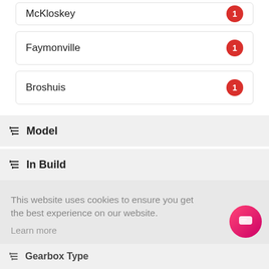McKloskey 1
Faymonville 1
Broshuis 1
Model
In Build
This website uses cookies to ensure you get the best experience on our website.
Learn more
Got it!
Gearbox Type